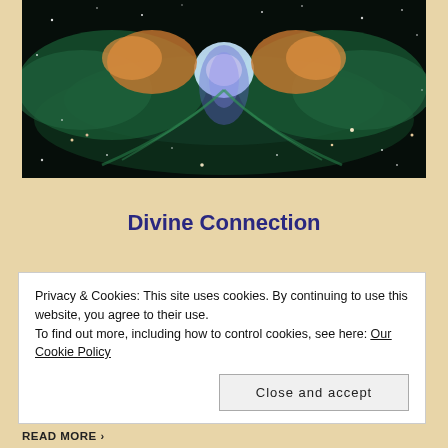[Figure (photo): Hubble Space Telescope image of a butterfly nebula (NGC 6302) — colorful gas clouds in teal, orange, and purple forming a butterfly shape against a dark star-filled space background.]
Divine Connection
Privacy & Cookies: This site uses cookies. By continuing to use this website, you agree to their use.
To find out more, including how to control cookies, see here: Our Cookie Policy
Close and accept
READ MORE »